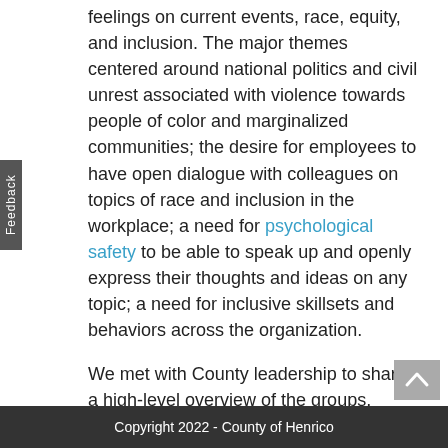feelings on current events, race, equity, and inclusion. The major themes centered around national politics and civil unrest associated with violence towards people of color and marginalized communities; the desire for employees to have open dialogue with colleagues on topics of race and inclusion in the workplace; a need for psychological safety to be able to speak up and openly express their thoughts and ideas on any topic; a need for inclusive skillsets and behaviors across the organization.
We met with County leadership to share a high-level overview of the groups, including the following recommendations for the next steps:
Establish a DEI organizational strategy.
Continue professional development for all staff to focus on equity, skill-building, and development around inclusion.
Copyright 2022 - County of Henrico